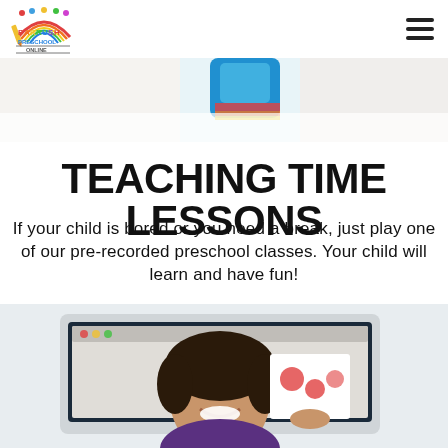[Figure (logo): Parrish Preschool Online colorful logo with rainbow, pencil, and cartoon children]
[Figure (photo): Top portion of a child holding a colorful object, partial view, light background]
TEACHING TIME LESSONS
If your child is bored or you need a break, just play one of our pre-recorded preschool classes. Your child will learn and have fun!
[Figure (photo): Teacher smiling and holding up a card with red shapes on a laptop screen, online preschool class scene]